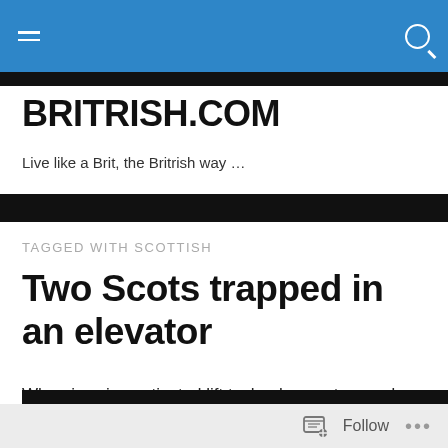Navigation bar with menu and search icons
BRITRISH.COM
Live like a Brit, the Britrish way …
TAGGED WITH SCOTTISH
Two Scots trapped in an elevator
When is voice-activated lift technology not a good thing? When you're Scottish …
Follow